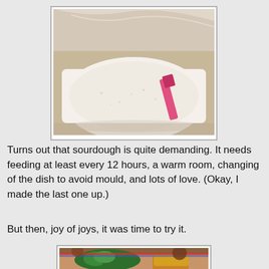[Figure (photo): A white ceramic dish filled with pale sourdough starter batter, covered with plastic wrap, with a pink spatula resting in the batter.]
Turns out that sourdough is quite demanding. It needs feeding at least every 12 hours, a warm room, changing of the dish to avoid mould, and lots of love. (Okay, I made the last one up.)
But then, joy of joys, it was time to try it.
[Figure (photo): A plate with salad greens and a toasted item with melted cheese, with other food items visible in the background on a wooden table.]